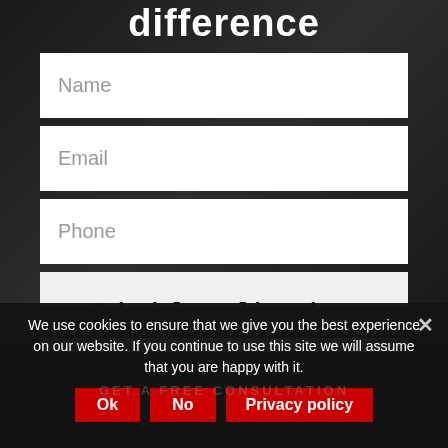difference
[Figure (screenshot): Web form with three input fields: Name, Email, Phone, and a 'Schedule a live demo' submit button on a dark background]
We use cookies to ensure that we give you the best experience on our website. If you continue to use this site we will assume that you are happy with it.
Ok  No  Privacy policy